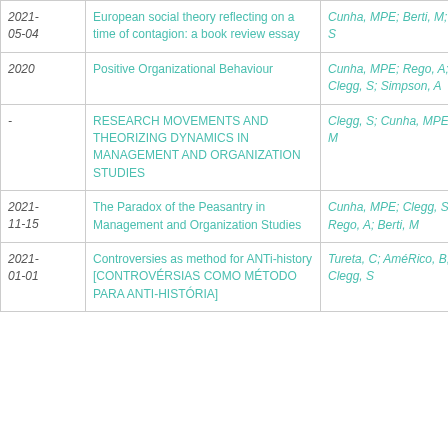| Date | Title | Authors |
| --- | --- | --- |
| 2021-05-04 | European social theory reflecting on a time of contagion: a book review essay | Cunha, MPE; Berti, M; Clegg, S |
| 2020 | Positive Organizational Behaviour | Cunha, MPE; Rego, A; Clegg, S; Simpson, A |
| - | RESEARCH MOVEMENTS AND THEORIZING DYNAMICS IN MANAGEMENT AND ORGANIZATION STUDIES | Clegg, S; Cunha, MPE; Berti, M |
| 2021-11-15 | The Paradox of the Peasantry in Management and Organization Studies | Cunha, MPE; Clegg, S; Rego, A; Berti, M |
| 2021-01-01 | Controversies as method for ANTi-history [CONTROVÉRSIAS COMO MÉTODO PARA ANTI-HISTÓRIA] | Tureta, C; AméRico, B; Clegg, S |